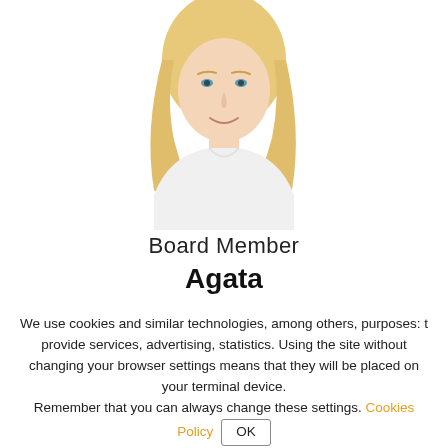[Figure (photo): Portrait photo of a blonde woman wearing a white shirt, shown from the shoulders up, with a white background, clipped in a circular/oval frame.]
Board Member
Agata
We use cookies and similar technologies, among others, purposes: to provide services, advertising, statistics. Using the site without changing your browser settings means that they will be placed on your terminal device.
Remember that you can always change these settings. Cookies Policy  OK